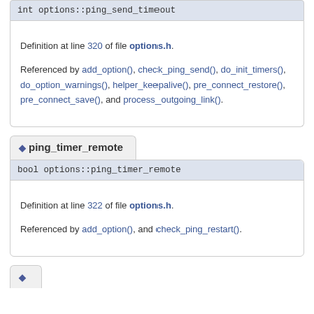int options::ping_send_timeout
Definition at line 320 of file options.h.

Referenced by add_option(), check_ping_send(), do_init_timers(), do_option_warnings(), helper_keepalive(), pre_connect_restore(), pre_connect_save(), and process_outgoing_link().
ping_timer_remote
bool options::ping_timer_remote
Definition at line 322 of file options.h.

Referenced by add_option(), and check_ping_restart().